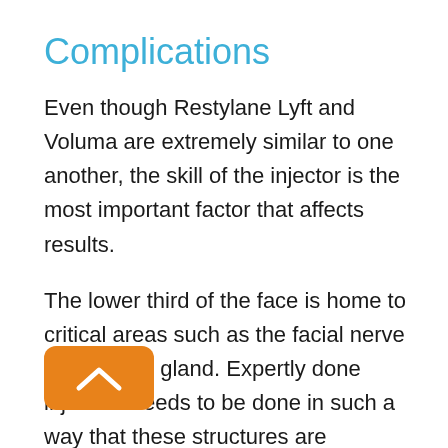Complications
Even though Restylane Lyft and Voluma are extremely similar to one another, the skill of the injector is the most important factor that affects results.
The lower third of the face is home to critical areas such as the facial nerve and parotid gland. Expertly done injection needs to be done in such a way that these structures are avoided. Improperly injected filler that interfere with these areas can result in ongoing pain, nerve damage, and even facial